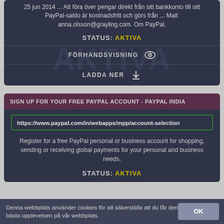25 jun 2014 ... Att föra över pengar direkt från sitt bankkonto till sitt PayPal-saldo är kostnadsfritt och görs från ... Mail: anna.olsson@grayling.com. Om PayPal.
STATUS: AKTIVA
FÖRHANDSVISNING
LADDA NER
SIGN UP FOR YOUR FREE PAYPAL ACCOUNT - PAYPAL INDIA
https://www.paypal.com/in/webapps/mpp/account-selection
Register for a free PayPal personal or business account for shopping, sending or receiving global payments for your personal and business needs.
STATUS: AKTIVA
Denna webbplats använder cookies för att säkerställa att du får den bästa upplevelsen på vår webbplats.